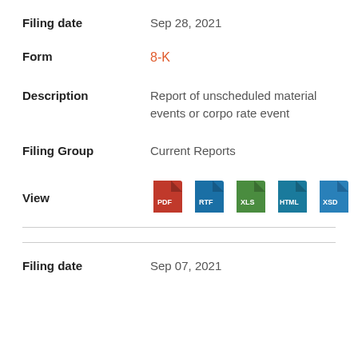Filing date: Sep 28, 2021
Form: 8-K
Description: Report of unscheduled material events or corpo rate event
Filing Group: Current Reports
View: PDF, RTF, XLS, HTML, XSD
Filing date: Sep 07, 2021